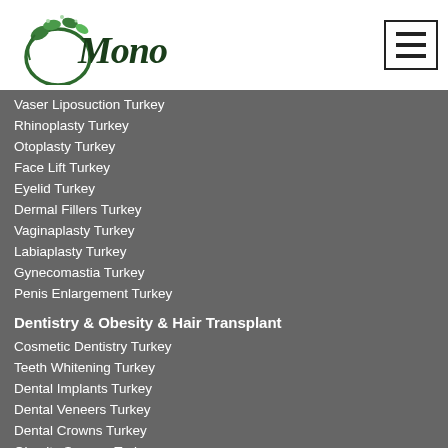[Figure (logo): Mono medical tourism logo with green botanical illustration and script text]
Vaser Liposuction Turkey
Rhinoplasty Turkey
Otoplasty Turkey
Face Lift Turkey
Eyelid Turkey
Dermal Fillers Turkey
Vaginaplasty Turkey
Labiaplasty Turkey
Gynecomastia Turkey
Penis Enlargement Turkey
Dentistry & Obesity & Hair Transplant
Cosmetic Dentistry Turkey
Teeth Whitening Turkey
Dental Implants Turkey
Dental Veneers Turkey
Dental Crowns Turkey
Obesity Surgery Turkey